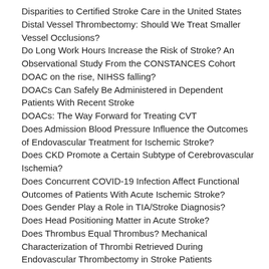Disparities to Certified Stroke Care in the United States
Distal Vessel Thrombectomy: Should We Treat Smaller Vessel Occlusions?
Do Long Work Hours Increase the Risk of Stroke? An Observational Study From the CONSTANCES Cohort
DOAC on the rise, NIHSS falling?
DOACs Can Safely Be Administered in Dependent Patients With Recent Stroke
DOACs: The Way Forward for Treating CVT
Does Admission Blood Pressure Influence the Outcomes of Endovascular Treatment for Ischemic Stroke?
Does CKD Promote a Certain Subtype of Cerebrovascular Ischemia?
Does Concurrent COVID-19 Infection Affect Functional Outcomes of Patients With Acute Ischemic Stroke?
Does Gender Play a Role in TIA/Stroke Diagnosis?
Does Head Positioning Matter in Acute Stroke?
Does Thrombus Equal Thrombus? Mechanical Characterization of Thrombi Retrieved During Endovascular Thrombectomy in Stroke Patients
Does tPA Really Save Lives?
Door In/Door Out Not as Important for DAWN Patients
Drip-and-Ship Versus Drip-and-Drive
Dual Antiplatelet Therapy for Large Artery Atherosclerosis
Dual Antiplatelet Therapy: Shotgun or Aiming at Precision Targets?